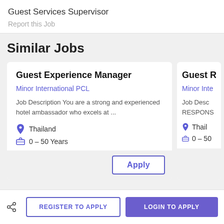Guest Services Supervisor
Report this Job
Similar Jobs
Guest Experience Manager
Minor International PCL
Job Description You are a strong and experienced hotel ambassador who excels at ...
Thailand
0 – 50 Years
Guest Re
Minor Inte
Job Desc RESPONS
Thail
0 – 50
Apply
REGISTER TO APPLY
LOGIN TO APPLY